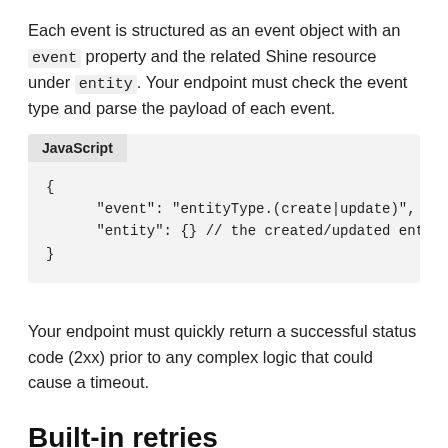Each event is structured as an event object with an event property and the related Shine resource under entity. Your endpoint must check the event type and parse the payload of each event.
[Figure (other): JavaScript code block showing event object structure: { "event": "entityType.(create|update)", "entity": {} // the created/updated entity }]
Your endpoint must quickly return a successful status code (2xx) prior to any complex logic that could cause a timeout.
Built-in retries
Shine webhooks have built-in retry methods for 4xx, or